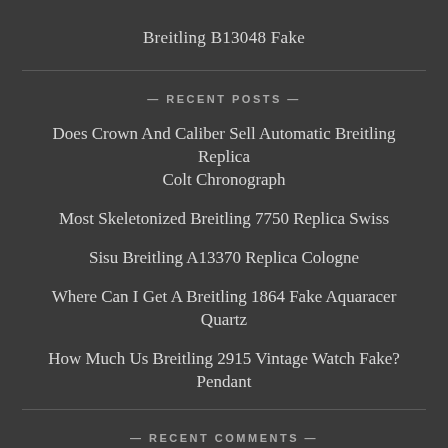Breitling B13048 Fake
— RECENT POSTS —
Does Crown And Caliber Sell Automatic Breitling Replica Colt Chronograph
Most Skeletonized Breitling 7750 Replica Swiss
Sisu Breitling A13370 Replica Cologne
Where Can I Get A Breitling 1864 Fake Aquaracer Quartz
How Much Us Breitling 2915 Vintage Watch Fake? Pendant
— RECENT COMMENTS —